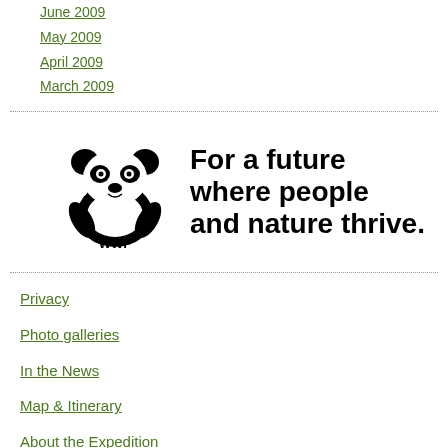June 2009
May 2009
April 2009
March 2009
[Figure (logo): WWF logo with panda and text 'For a future where people and nature thrive.']
Privacy
Photo galleries
In the News
Map & Itinerary
About the Expedition
Free Coral Triangle photo wallpapers!
Photos and graphics © WWF or used with permission.